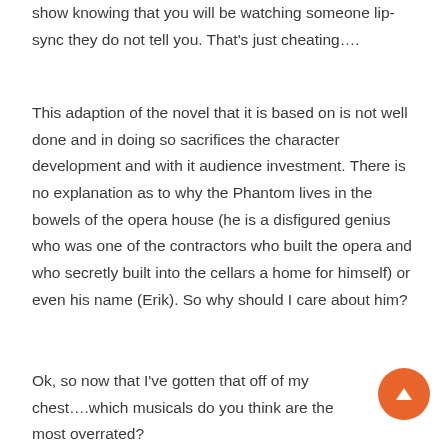show knowing that you will be watching someone lip-sync they do not tell you. That’s just cheating….
This adaption of the novel that it is based on is not well done and in doing so sacrifices the character development and with it audience investment. There is no explanation as to why the Phantom lives in the bowels of the opera house (he is a disfigured genius who was one of the contractors who built the opera and who secretly built into the cellars a home for himself) or even his name (Erik). So why should I care about him?
Ok, so now that I’ve gotten that off of my chest….which musicals do you think are the most overrated? Is there a musical that you avoid at all costs? Why and